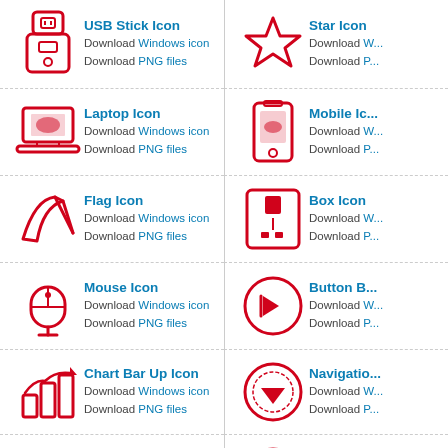[Figure (illustration): USB Stick Icon - red outline]
USB Stick Icon
Download Windows icon
Download PNG files
[Figure (illustration): Star Icon - red outline]
Star Icon
Download Windows icon
Download PNG files
[Figure (illustration): Laptop Icon - red outline]
Laptop Icon
Download Windows icon
Download PNG files
[Figure (illustration): Mobile Icon - red outline]
Mobile Icon
Download Windows icon
Download PNG files
[Figure (illustration): Flag Icon - red outline]
Flag Icon
Download Windows icon
Download PNG files
[Figure (illustration): Box Icon - red outline]
Box Icon
Download Windows icon
Download PNG files
[Figure (illustration): Mouse Icon - red outline]
Mouse Icon
Download Windows icon
Download PNG files
[Figure (illustration): Button Back Icon - red circle with back arrow]
Button B...
Download Windows icon
Download PNG files
[Figure (illustration): Chart Bar Up Icon - red outline]
Chart Bar Up Icon
Download Windows icon
Download PNG files
[Figure (illustration): Navigation Down Icon - red circle with down arrow]
Navigation...
Download Windows icon
Download PNG files
[Figure (illustration): Archive Icon - red outline]
Archive Icon
Download Windows icon
Download PNG files
[Figure (illustration): Question Mark Icon - red circle]
Question...
Download Windows icon
Download PNG files
[Figure (illustration): Users Icon - red outline]
Users Icon
[Figure (illustration): Keyboard Icon - red outline]
Keyboard...